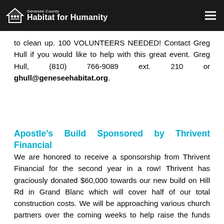Genesee County Habitat for Humanity
for registration, guiding traffic and runners at locations, managing the water stations, and helping to clean up. 100 VOLUNTEERS NEEDED! Contact Greg Hull if you would like to help with this great event. Greg Hull, (810) 766-9089 ext. 210 or ghull@geneseehabitat.org.
Apostle's Build Sponsored by Thrivent Financial
We are honored to receive a sponsorship from Thrivent Financial for the second year in a row! Thrivent has graciously donated $60,000 towards our new build on Hill Rd in Grand Blanc which will cover half of our total construction costs. We will be approaching various church partners over the coming weeks to help raise the funds and volunteers to build the rest of this home. If